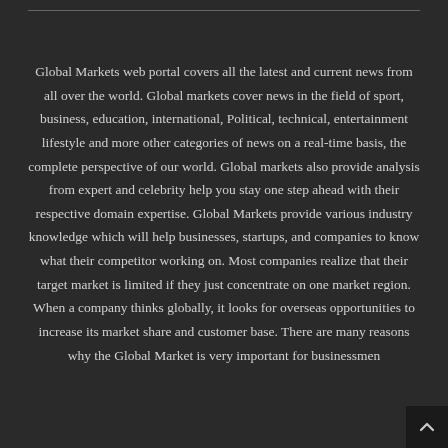Global Markets web portal covers all the latest and current news from all over the world. Global markets cover news in the field of sport, business, education, international, Political, technical, entertainment lifestyle and more other categories of news on a real-time basis, the complete perspective of our world. Global markets also provide analysis from expert and celebrity help you stay one step ahead with their respective domain expertise. Global Markets provide various industry knowledge which will help businesses, startups, and companies to know what their competitor working on. Most companies realize that their target market is limited if they just concentrate on one market region. When a company thinks globally, it looks for overseas opportunities to increase its market share and customer base. There are many reasons why the Global Market is very important for businessmen